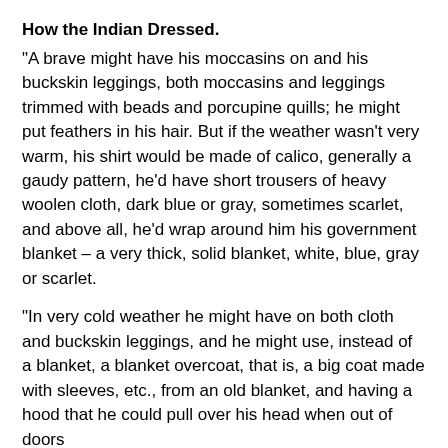How the Indian Dressed.
“A brave might have his moccasins on and his buckskin leggings, both moccasins and leggings trimmed with beads and porcupine quills; he might put feathers in his hair. But if the weather wasn’t very warm, his shirt would be made of calico, generally a gaudy pattern, he’d have short trousers of heavy woolen cloth, dark blue or gray, sometimes scarlet, and above all, he’d wrap around him his government blanket – a very thick, solid blanket, white, blue, gray or scarlet.
“In very cold weather he might have on both cloth and buckskin leggings, and he might use, instead of a blanket, a blanket overcoat, that is, a big coat made with sleeves, etc., from an old blanket, and having a hood that he could pull over his head when out of doors
“On the other hand, if the weather was hot Mr. Indian would leave off his shirt and substitute a cloth breechclout for his trousers. But he’d use his blanket still to protect him from the